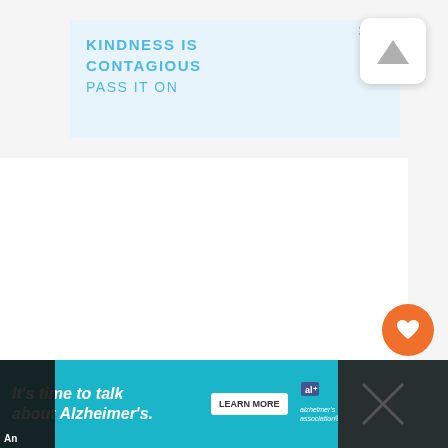[Figure (screenshot): Advertisement banner with light blue background. Text reads: KINDNESS IS CONTAGIOUS / PASS IT ON in blue letters. Has a close X button and a scroll-to-top arrow button.]
[Figure (screenshot): Orange circular heart/favorite button on the right side of the page.]
[Figure (screenshot): White circular share button with share icon on the right side of the page.]
[Figure (screenshot): Bottom advertisement banner for Alzheimer's Association in teal/cyan color. Text reads: It's time to talk about Alzheimer's. with a LEARN MORE button and the Alzheimer's Association logo.]